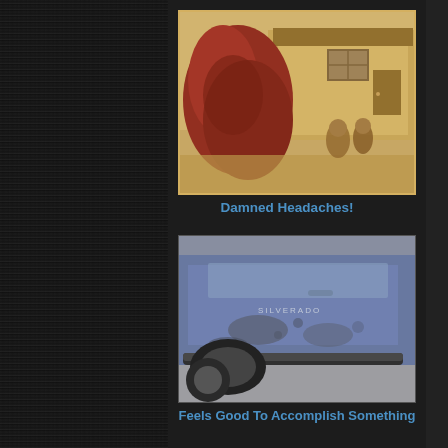[Figure (photo): Vintage sepia-toned photograph of a house exterior with a red flowering plant/bush and people on the porch]
Damned Headaches!
[Figure (photo): Close-up photo of a dirty/muddy blue Chevrolet Silverado truck showing the side panel and running board]
Feels Good To Accomplish Something
[Figure (photo): Black and white or muted photo of snow-covered evergreen trees in a forest]